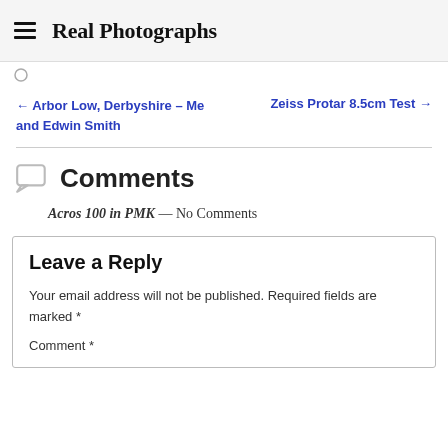Real Photographs
← Arbor Low, Derbyshire – Me and Edwin Smith
Zeiss Protar 8.5cm Test →
Comments
Acros 100 in PMK — No Comments
Leave a Reply
Your email address will not be published. Required fields are marked *
Comment *